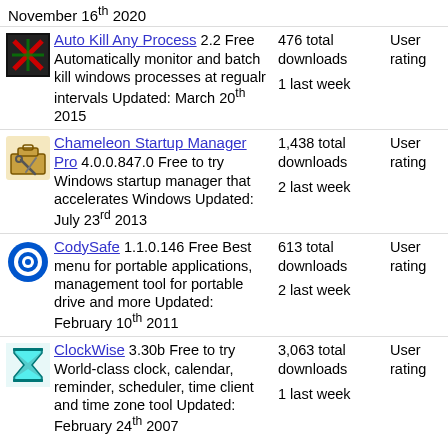November 16th 2020
Auto Kill Any Process 2.2 Free Automatically monitor and batch kill windows processes at regualr intervals Updated: March 20th 2015 | 476 total downloads | 1 last week | User rating
Chameleon Startup Manager Pro 4.0.0.847.0 Free to try Windows startup manager that accelerates Windows Updated: July 23rd 2013 | 1,438 total downloads | 2 last week | User rating
CodySafe 1.1.0.146 Free Best menu for portable applications, management tool for portable drive and more Updated: February 10th 2011 | 613 total downloads | 2 last week | User rating
ClockWise 3.30b Free to try World-class clock, calendar, reminder, scheduler, time client and time zone tool Updated: February 24th 2007 | 3,063 total downloads | 1 last week | User rating